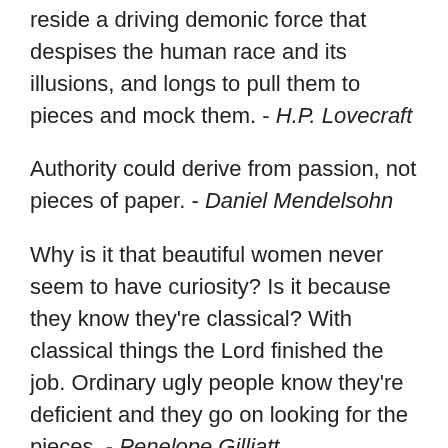every masterpiece of the sort must reside a driving demonic force that despises the human race and its illusions, and longs to pull them to pieces and mock them. - H.P. Lovecraft
Authority could derive from passion, not pieces of paper. - Daniel Mendelsohn
Why is it that beautiful women never seem to have curiosity? Is it because they know they're classical? With classical things the Lord finished the job. Ordinary ugly people know they're deficient and they go on looking for the pieces. - Penelope Gilliatt
You will be most readily cured of vanity or